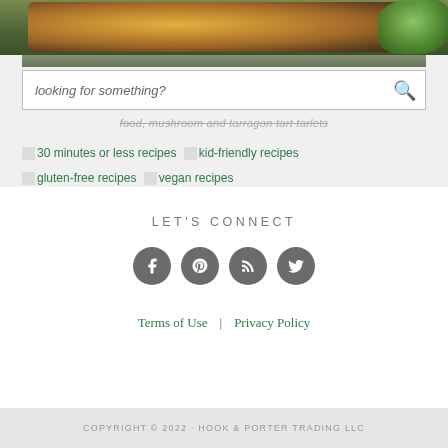[Figure (photo): Food photo at top - appears to show a baked dish or tart with garnish/lettuce on the side, dark background]
looking for something?
food, mushroom and tarragon tart tarlets
[Figure (photo): 30 minutes or less recipes category image]
30 minutes or less recipes
[Figure (photo): kid-friendly recipes category image]
kid-friendly recipes
[Figure (photo): gluten-free recipes category image]
gluten-free recipes
[Figure (photo): vegan recipes category image]
vegan recipes
LET'S CONNECT
[Figure (infographic): Social media icons: Facebook, Pinterest, RSS, Twitter - circular grey buttons]
Terms of Use | Privacy Policy
COPYRIGHT © 2022 · HOOK & PORTER TRADING LLC